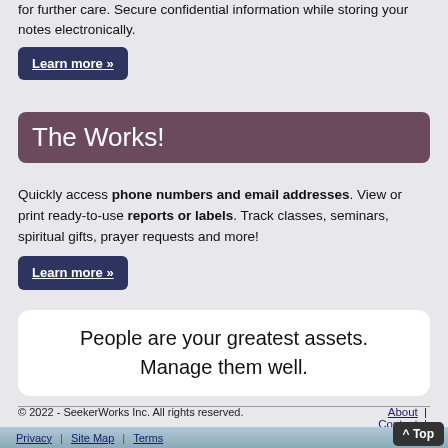for further care. Secure confidential information while storing your notes electronically.
Learn more »
The Works!
Quickly access phone numbers and email addresses. View or print ready-to-use reports or labels. Track classes, seminars, spiritual gifts, prayer requests and more!
Learn more »
People are your greatest assets. Manage them well.
© 2022 - SeekerWorks Inc. All rights reserved.  About | Contact |  Privacy | Site Map | Terms  ^ Top